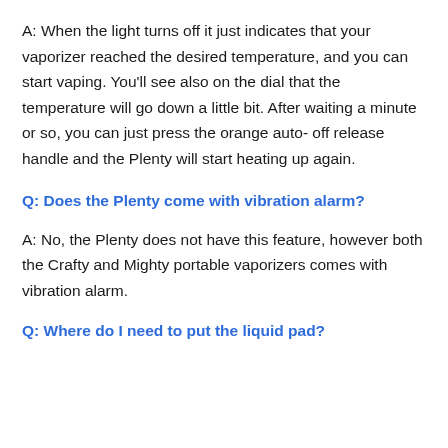A: When the light turns off it just indicates that your vaporizer reached the desired temperature, and you can start vaping. You'll see also on the dial that the temperature will go down a little bit. After waiting a minute or so, you can just press the orange auto- off release handle and the Plenty will start heating up again.
Q: Does the Plenty come with vibration alarm?
A: No, the Plenty does not have this feature, however both the Crafty and Mighty portable vaporizers comes with vibration alarm.
Q: Where do I need to put the liquid pad?